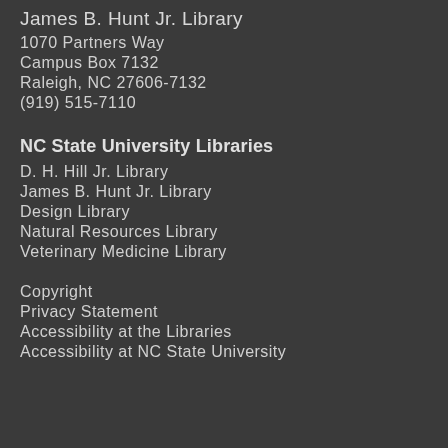James B. Hunt Jr. Library
1070 Partners Way
Campus Box 7132
Raleigh, NC 27606-7132
(919) 515-7110
NC State University Libraries
D. H. Hill Jr. Library
James B. Hunt Jr. Library
Design Library
Natural Resources Library
Veterinary Medicine Library
Copyright
Privacy Statement
Accessibility at the Libraries
Accessibility at NC State University